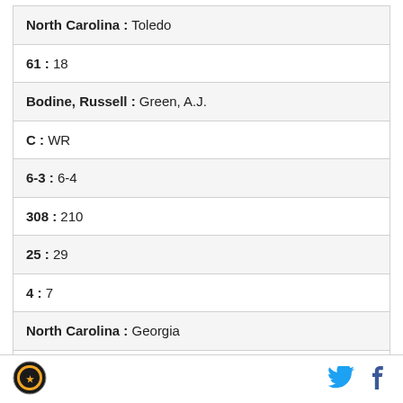| North Carolina : Toledo |
| 61 : 18 |
| Bodine, Russell : Green, A.J. |
| C : WR |
| 6-3 : 6-4 |
| 308 : 210 |
| 25 : 29 |
| 4 : 7 |
| North Carolina : Georgia |
| 61 : 20 |
| Bodine, Russell : Russell, KeiVarae |
Logo | Twitter | Facebook